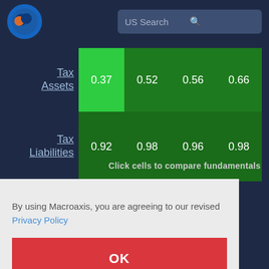[Figure (screenshot): Macroaxis website header with logo and US Search bar]
|  | Col1 | Col2 | Col3 | Col4 |
| --- | --- | --- | --- | --- |
| Tax Assets | 0.37 | 0.52 | 0.56 | 0.66 |
| Tax Liabilities | 0.92 | 0.98 | 0.96 | 0.98 |
Click cells to compare fundamentals
By using Macroaxis, you are agreeing to our revised Privacy Policy
OK